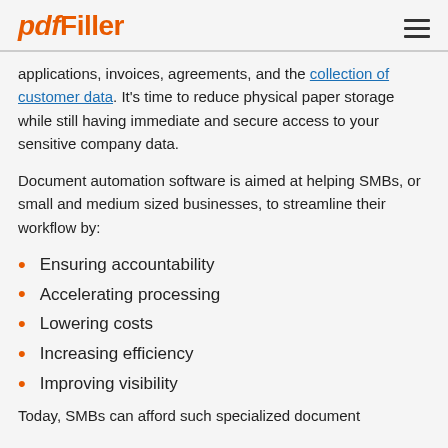pdfFiller
applications, invoices, agreements, and the collection of customer data. It's time to reduce physical paper storage while still having immediate and secure access to your sensitive company data.
Document automation software is aimed at helping SMBs, or small and medium sized businesses, to streamline their workflow by:
Ensuring accountability
Accelerating processing
Lowering costs
Increasing efficiency
Improving visibility
Today, SMBs can afford such specialized document